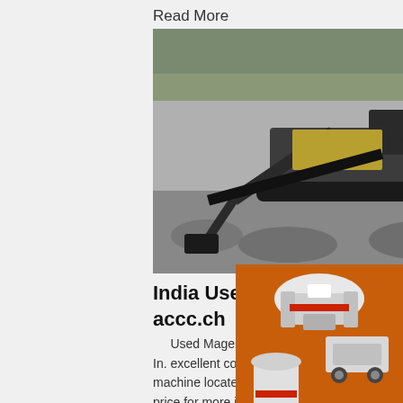Read More
[Figure (photo): Excavator machine working at a construction/mining site with piles of rocks and gravel, black and white photo]
India Used Surface Grinding Machi... accc.ch
Used Magerle Surface Grinding Machine In. excellent condition magerle f7 surface grin... machine located in new delhi, india. please cli... price for more information. the technical detail... machine is as follows - make - magerle (switzerland) model - f7 magnet size - 200 mm x 600 mm ta... 240 mm x 750 mm table travel size - 300 mm ... grinding wheel size ...
Read More
[Figure (photo): Partial view of a machine or conveyor at the bottom of the page]
[Figure (infographic): Orange sidebar advertisement showing industrial machines (cone crusher, mobile crusher, vertical mill), with 'Enjoy 3% discount', 'Click to Chat', 'Enquiry', and email limingjlmofen@sina.com]